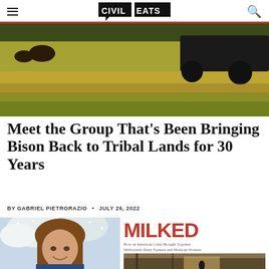CIVIL EATS
[Figure (photo): Bison in a grassy field with a vehicle or farm equipment visible in the background, golden grasses in foreground]
Meet the Group That's Been Bringing Bison Back to Tribal Lands for 30 Years
BY GABRIEL PIETRORAZIO • JULY 26, 2022
[Figure (photo): Woman with long brown hair smiling outdoors in snowy conditions with snow-covered trees behind her]
[Figure (illustration): Book advertisement for MILKED: How an American Crisis Brought Together Midwestern Dairy Farmers and Mexican Workers, with photo of barn interior below]